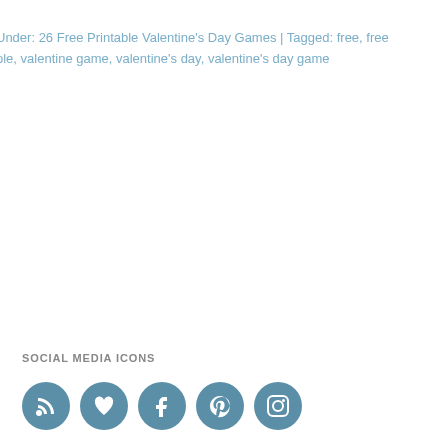Under: 26 Free Printable Valentine's Day Games | Tagged: free, free …ole, valentine game, valentine's day, valentine's day game
SOCIAL MEDIA ICONS
[Figure (infographic): Five circular social media icon buttons in teal/steel blue: RSS, Heart/Bloglovin, Facebook, Pinterest, Instagram]